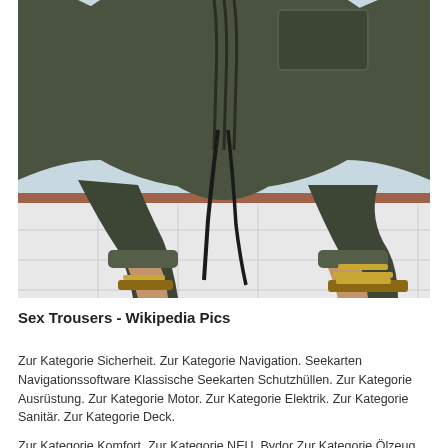[Figure (photo): A person crouching low, wearing dark olive/khaki baggy harem-style trousers with a drawstring, and gold/brown strap sandals, on a white tiled floor against a light blue wall background.]
Sex Trousers - Wikipedia Pics
Zur Kategorie Sicherheit. Zur Kategorie Navigation. Seekarten Navigationssoftware Klassische Seekarten Schutzhüllen. Zur Kategorie Ausrüstung. Zur Kategorie Motor. Zur Kategorie Elektrik. Zur Kategorie Sanitär. Zur Kategorie Deck.
Zur Kategorie Komfort. Zur Kategorie NEU. Bydor Zur Kategorie Ölzeug. Gill